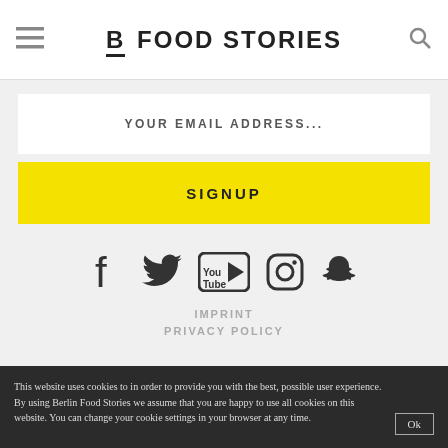B FOOD STORIES
YOUR EMAIL ADDRESS...
SIGNUP
[Figure (other): Social media icons: Facebook, Twitter, YouTube, Instagram, Snapchat]
IMPRINT
PRIVACY POLICY
This website uses cookies to in order to provide you with the best, possible user experience. By using Berlin Food Stories we assume that you are happy to use all cookies on this website. You can change your cookie settings in your browser at any time.